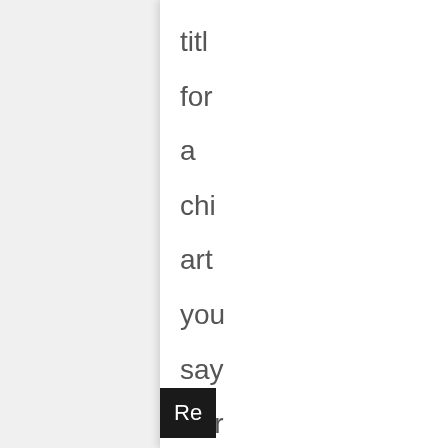titl for a chi art you say Par str wh our pro is gai acc by lea and
Re